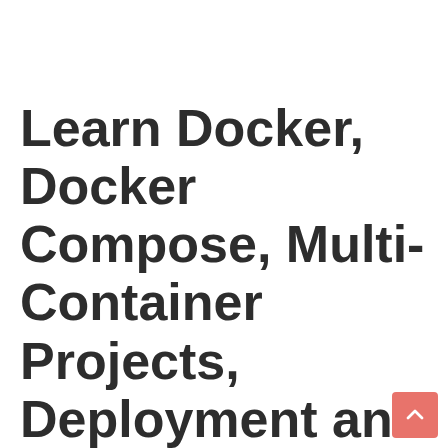Learn Docker, Docker Compose, Multi-Container Projects, Deployment and all about Kubernetes for...